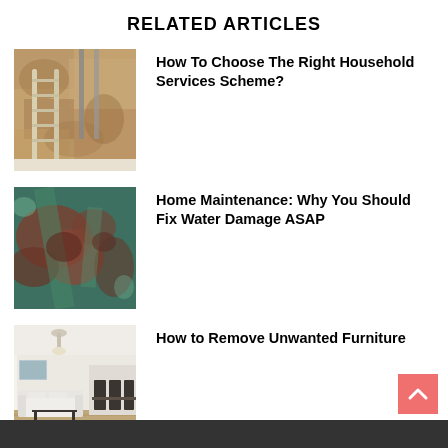RELATED ARTICLES
[Figure (photo): A ladder leaning against a worn, peeling wall with pipes — home renovation scene]
How To Choose The Right Household Services Scheme?
[Figure (photo): Close-up of rusty, teal-colored corroded metal surface — water damage]
Home Maintenance: Why You Should Fix Water Damage ASAP
[Figure (photo): Modern living room interior with white sofa, coffee table, and dining area]
How to Remove Unwanted Furniture